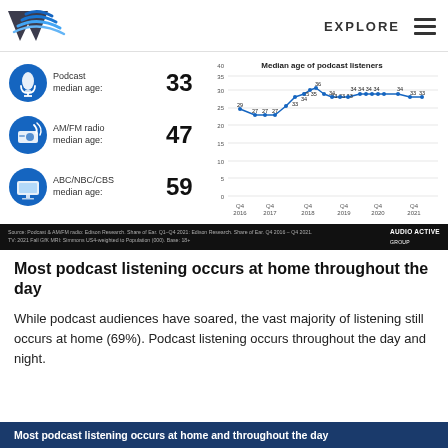EXPLORE
[Figure (infographic): Three stat rows: Podcast median age 33 with microphone icon, AM/FM radio median age 47 with radio icon, ABC/NBC/CBS median age 59 with TV icon]
[Figure (line-chart): Median age of podcast listeners]
Source: Podcast & AM/FM radio: Edison Research. Share of Ear. Q1-Q4 2021: Edison Research. Share of Ear. Q4 2016 – Q4 2021. TV: 2021 Fall GfK MRI: Simmons US4-weighted to Population (000). Base: 18+
Most podcast listening occurs at home throughout the day
While podcast audiences have soared, the vast majority of listening still occurs at home (69%). Podcast listening occurs throughout the day and night.
Most podcast listening occurs at home and throughout the day